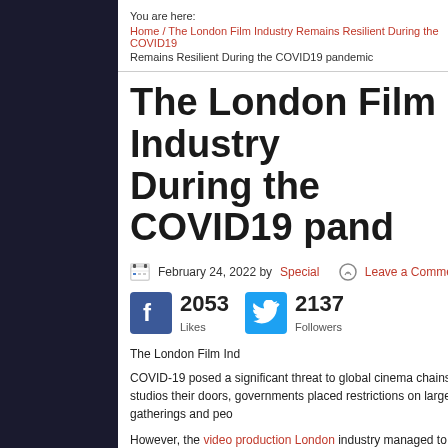You are here: Home / The London Film Industry Remains Resilient During the COVID19 pandemic
The London Film Industry During the COVID19 pand
February 24, 2022 by Special   Leave a Comment
[Figure (infographic): Facebook 2053 Likes and Twitter 2137 Followers social share buttons]
The London Film Ind
COVID-19 posed a significant threat to global cinema chains and studios their doors, governments placed restrictions on large gatherings and peo
However, the video production London industry managed to remain resilie it provided for the film industry to overcome.
How Has the Pandemic Affected the industry?